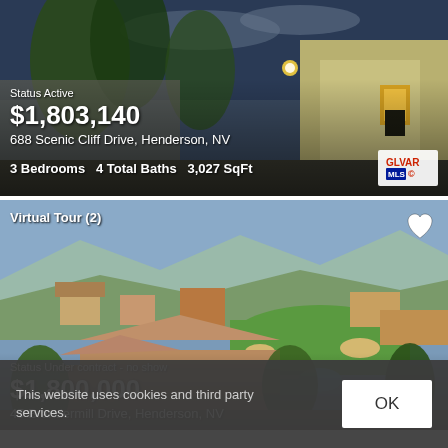[Figure (photo): Modern house exterior at dusk with dramatic sky, trees, and illuminated entrance - 688 Scenic Cliff Drive]
Status Active
$1,803,140
688 Scenic Cliff Drive, Henderson, NV
3 Bedrooms   4 Total Baths   3,027 SqFt
[Figure (photo): Aerial view of luxury home with golf course in background - 45 Brandermill Drive]
Virtual Tour (2)
Status Under contract - no show
$1,800,000
45 Brandermill Drive, Henderson, NV
This website uses cookies and third party services.